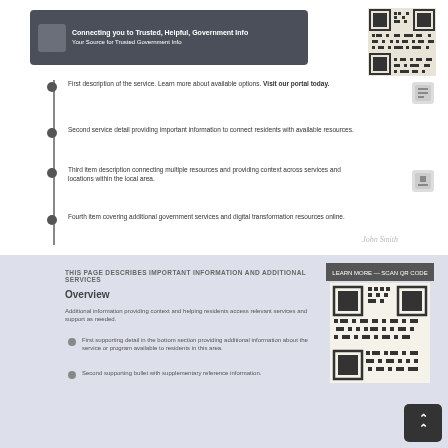[Figure (other): Dark header bar with icon and text on left side of top section]
[Figure (other): QR code in top right corner]
First list item with bullet point on vertical timeline
Second list item describing features or information
Third list item with more detailed description spanning two lines
Fourth list item with additional information
[Figure (other): Small icon to the right of list items]
[Figure (other): Small icon to the right of list items lower]
Signature or handwritten text
THIS PAGE DESCRIBES ADDITIONAL SERVICES AND INFORMATION
Overview
Additional descriptive text providing context for the section below
First bullet point in the bottom section with supporting details
Second bullet point with supplementary information
[Figure (other): QR code with surrounding text in bottom right area]
[Figure (other): Back to top navigation button with double chevron arrows]